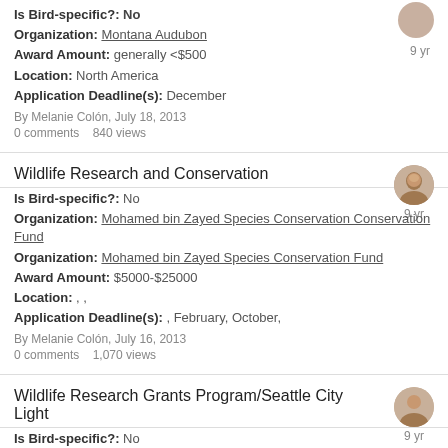Is Bird-specific?: No
Organization: Montana Audubon
Award Amount: generally <$500
Location: North America
Application Deadline(s): December
By Melanie Colón, July 18, 2013
0 comments   840 views
Wildlife Research and Conservation
Is Bird-specific?: No
Organization: Mohamed bin Zayed Species Conservation Fund
Award Amount: $5000-$25000
Location: , ,
Application Deadline(s): , February, October,
By Melanie Colón, July 16, 2013
0 comments   1,070 views
Wildlife Research Grants Program/Seattle City Light
Is Bird-specific?: No
Organization: City of Seattle